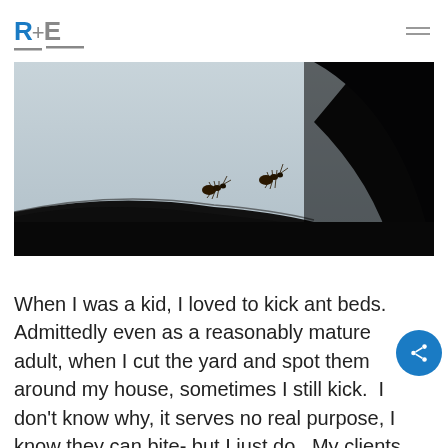R+E
[Figure (photo): Close-up silhouette photograph of two ants walking along a dark curved surface (branch or rock edge) against a light blue-grey sky background. A large dark curved shape occupies the right side of the image.]
When I was a kid, I loved to kick ant beds.  Admittedly even as a reasonably mature adult, when I cut the yard and spot them around my house, sometimes I still kick.  I don't know why, it serves no real purpose, I know they can bite- but I just do.  My clients like to kick ant beds.  They do